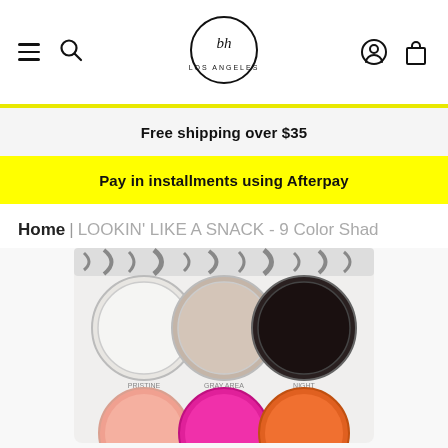BH Los Angeles - navigation header with menu, search, logo, account, and cart icons
Free shipping over $35
Pay in installments using Afterpay
Home | LOOKIN' LIKE A SNACK - 9 Color Shad
[Figure (photo): BH Cosmetics LOOKIN LIKE A SNACK 9-color eyeshadow palette showing circular pans in white, taupe, black in the top visible row, and pink/peach/orange in the second partial row, on a zebra-print cardboard packaging background]